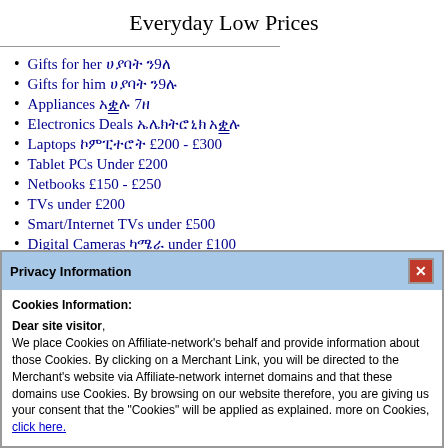Everyday Low Prices
Gifts for her ሀያባት ን9ለ
Gifts for him ሀያባት ን9ሉ
Appliances አቋሉ 7ዘ
Electronics Deals ኤሌክትሮኒክ አቋሉ
Laptops ኮምፒተሮት £200 - £300
Tablet PCs Under £200
Netbooks £150 - £250
TVs under £200
Smart/Internet TVs under £500
Digital Cameras ካሜራ under £100
Privacy Information
Cookies Information: Dear site visitor, We place Cookies on Affiliate-network's behalf and provide information about those Cookies. By clicking on a Merchant Link, you will be directed to the Merchant's website via Affiliate-network internet domains and that these domains use Cookies. By browsing on our website therefore, you are giving us your consent that the "Cookies" will be applied as explained. more on Cookies, click here.